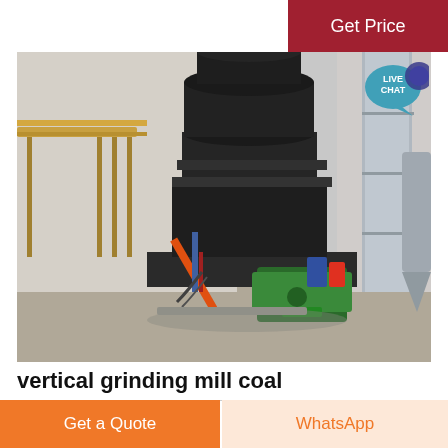Get Price
[Figure (photo): Industrial vertical grinding mill for coal processing, large dark cylindrical machine with green motor base, metalwork platforms and silver ventilation ducts in background inside a factory building.]
vertical grinding mill coal
Get a Quote
WhatsApp